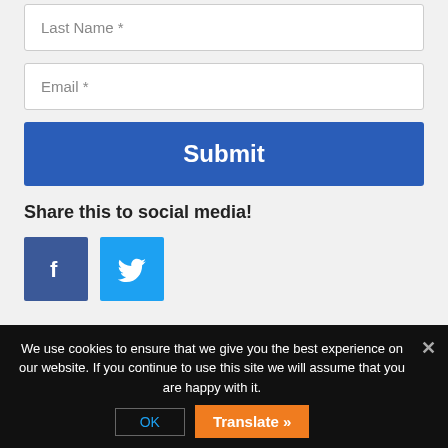Last Name *
Email *
Submit
Share this to social media!
[Figure (illustration): Facebook and Twitter social media share buttons (blue square icons with f and bird logos)]
We use cookies to ensure that we give you the best experience on our website. If you continue to use this site we will assume that you are happy with it.
OK
Translate »